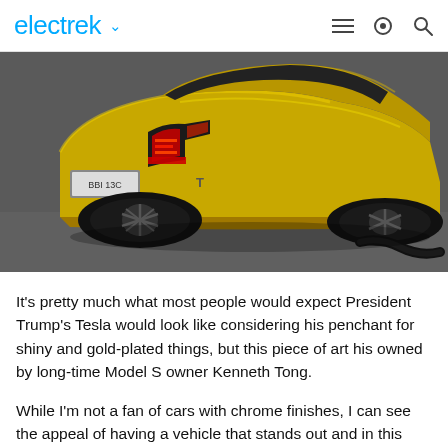electrek
[Figure (photo): Rear three-quarter view of a gold chrome-wrapped Tesla Model S in a garage, showing glowing red tail lights and black wheels. A black cable is visible on the ground.]
It's pretty much what most people would expect President Trump's Tesla would look like considering his penchant for shiny and gold-plated things, but this piece of art his owned by long-time Model S owner Kenneth Tong.
While I'm not a fan of cars with chrome finishes, I can see the appeal of having a vehicle that stands out and in this case, you have to admire the craftsmanship.